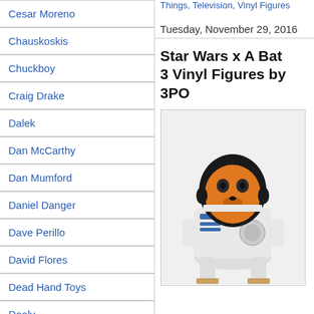Cesar Moreno
Chauskoskis
Chuckboy
Craig Drake
Dalek
Dan McCarthy
Dan Mumford
Daniel Danger
Dave Perillo
David Flores
Dead Hand Toys
Doaly
Doktor A
Dril One
EMEK
Eric Tan
Things, Television, Vinyl Figures
Tuesday, November 29, 2016
Star Wars x A Bat... 3 Vinyl Figures by... 3PO
[Figure (photo): A vinyl figure of a BAPE baby milo character dressed as R2-D2 from Star Wars, with orange face and white/blue R2-D2 body costume.]